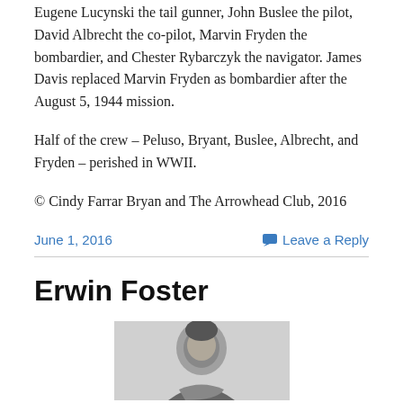Eugene Lucynski the tail gunner, John Buslee the pilot, David Albrecht the co-pilot, Marvin Fryden the bombardier, and Chester Rybarczyk the navigator. James Davis replaced Marvin Fryden as bombardier after the August 5, 1944 mission.
Half of the crew – Peluso, Bryant, Buslee, Albrecht, and Fryden – perished in WWII.
© Cindy Farrar Bryan and The Arrowhead Club, 2016
June 1, 2016
Leave a Reply
Erwin Foster
[Figure (photo): Black and white portrait photo of a person, partially visible, cropped at the bottom of the page.]